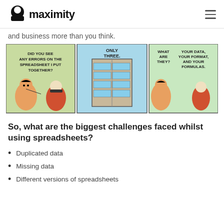maximity
and business more than you think.
[Figure (illustration): A three-panel Dilbert comic strip. Panel 1: A dog-eared character asks a colleague 'DID YOU SEE ANY ERRORS ON THE SPREADSHEET I PUT TOGETHER?' Panel 2: A tall building in the middle panel with the text 'ONLY THREE.' Panel 3: The colleague responds 'WHAT ARE THEY? YOUR DATA, YOUR FORMAT, AND YOUR FORMULAS.']
So, what are the biggest challenges faced whilst using spreadsheets?
Duplicated data
Missing data
Different versions of spreadsheets